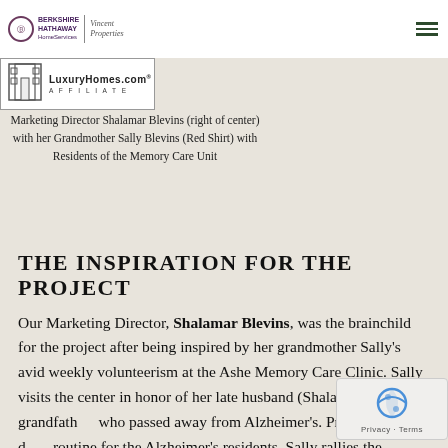BERKSHIRE HATHAWAY HomeServices | Vincent Properties
[Figure (logo): LuxuryHomes.com Affiliate badge with door icon]
Marketing Director Shalamar Blevins (right of center) with her Grandmother Sally Blevins (Red Shirt) with Residents of the Memory Care Unit
THE INSPIRATION FOR THE PROJECT
Our Marketing Director, Shalamar Blevins, was the brainchild for the project after being inspired by her grandmother Sally’s avid weekly volunteerism at the Ashe Memory Care Clinic. Sally visits the center in honor of her late husband (Shalamar’s grandfather) who passed away from Alzheimer’s. Providing a daily routine for the Alzheimer’s residents, Sally rallies the